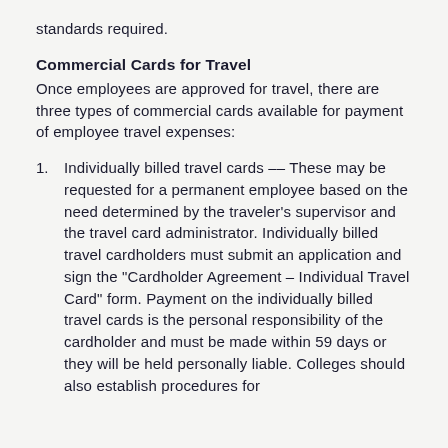standards required.
Commercial Cards for Travel
Once employees are approved for travel, there are three types of commercial cards available for payment of employee travel expenses:
Individually billed travel cards -- These may be requested for a permanent employee based on the need determined by the traveler's supervisor and the travel card administrator. Individually billed travel cardholders must submit an application and sign the "Cardholder Agreement – Individual Travel Card" form. Payment on the individually billed travel cards is the personal responsibility of the cardholder and must be made within 59 days or they will be held personally liable. Colleges should also establish procedures for